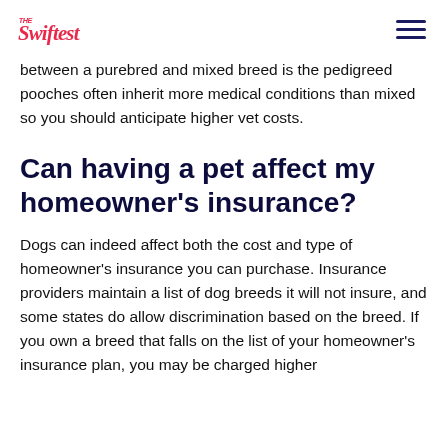The Swiftest [logo] [hamburger menu]
between a purebred and mixed breed is the pedigreed pooches often inherit more medical conditions than mixed so you should anticipate higher vet costs.
Can having a pet affect my homeowner’s insurance?
Dogs can indeed affect both the cost and type of homeowner’s insurance you can purchase. Insurance providers maintain a list of dog breeds it will not insure, and some states do allow discrimination based on the breed. If you own a breed that falls on the list of your homeowner’s insurance plan, you may be charged higher